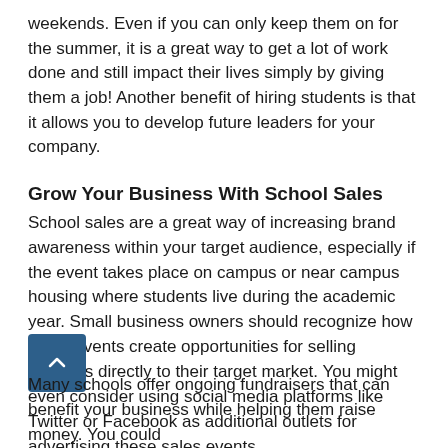weekends. Even if you can only keep them on for the summer, it is a great way to get a lot of work done and still impact their lives simply by giving them a job! Another benefit of hiring students is that it allows you to develop future leaders for your company.
Grow Your Business With School Sales
School sales are a great way of increasing brand awareness within your target audience, especially if the event takes place on campus or near campus housing where students live during the academic year. Small business owners should recognize how these events create opportunities for selling products directly to their target market. You might even consider using social media platforms like Twitter or Facebook as additional outlets for advertising these sales events.
Many schools offer ongoing fundraisers that can benefit your business while helping them raise money. You could